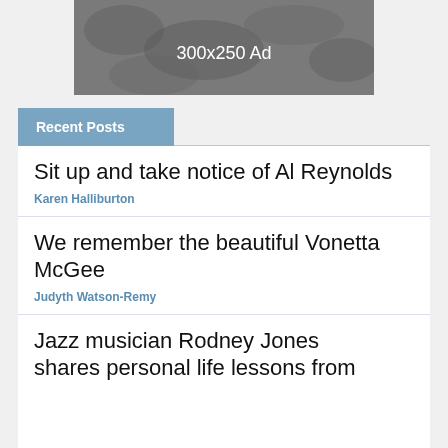[Figure (other): 300x250 Ad placeholder image with dark rocky background]
Recent Posts
Sit up and take notice of Al Reynolds
Karen Halliburton
We remember the beautiful Vonetta McGee
Judyth Watson-Remy
Jazz musician Rodney Jones shares personal life lessons from